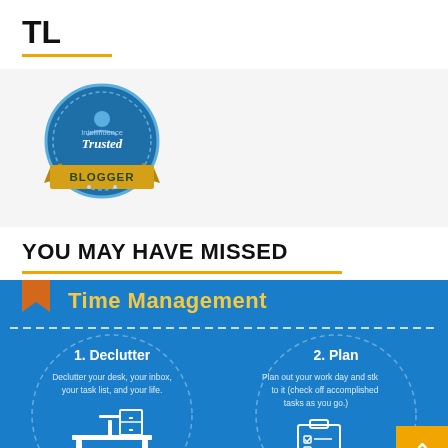TL
[Figure (logo): Intellifluence Trusted Blogger badge - circular blue badge with gold ribbon banner]
YOU MAY HAVE MISSED
[Figure (infographic): Blue infographic about Time Management showing two circular sections: 1. Declutter - Declutter your desk, your inbox, your task list, and your life. 2. Plan - Plan out your work day and stick to it (check off accomplished tasks as you go.)]